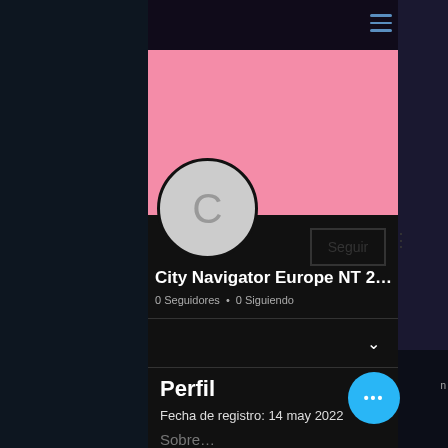[Figure (screenshot): Mobile app profile page screenshot showing a user profile for 'City Navigator Europe NT 2012.1...' with a pink banner header, grey avatar with letter C, Seguir (Follow) button, follower counts, a collapsed section with chevron, and a Perfil (Profile) section showing registration date 14 may 2022 and Sobre... (About) section. Blue FAB button with ellipsis visible bottom right.]